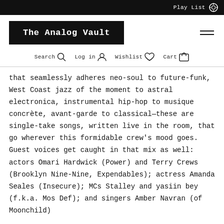Play List
The Analog Vault
Search  Log in  Wishlist  Cart
that seamlessly adheres neo-soul to future-funk, West Coast jazz of the moment to astral electronica, instrumental hip-hop to musique concrète, avant-garde to classical—these are single-take songs, written live in the room, that go wherever this formidable crew's mood goes. Guest voices get caught in that mix as well: actors Omari Hardwick (Power) and Terry Crews (Brooklyn Nine-Nine, Expendables); actress Amanda Seales (Insecure); MCs Stalley and yasiin bey (f.k.a. Mos Def); and singers Amber Navran (of Moonchild)